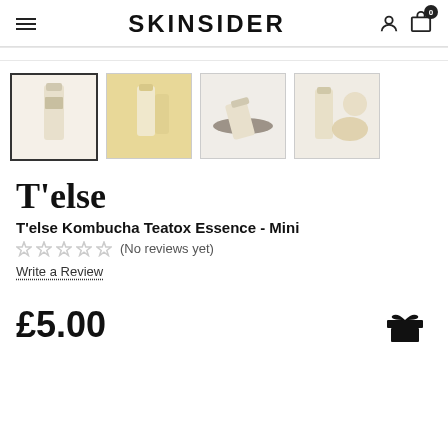SKINSIDER
[Figure (photo): Four product thumbnail images of T'else Kombucha Teatox Essence Mini bottle from different angles and settings]
T'else
T'else Kombucha Teatox Essence - Mini
★★★★★ (No reviews yet)
Write a Review
£5.00